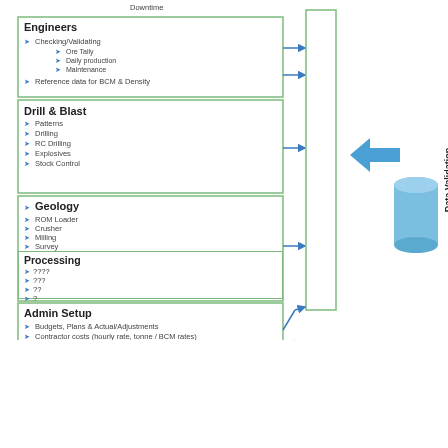[Figure (flowchart): Flowchart showing data modules (Engineers, Drill & Blast, Geology, Processing, Admin Setup) feeding into a Data Validation box via arrows, which then feeds via a large blue arrow into a database cylinder.]